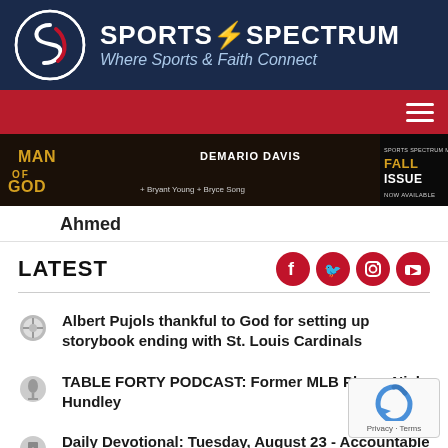[Figure (logo): Sports Spectrum logo with circular icon and text 'SPORTS SPECTRUM - Where Sports & Faith Connect' on dark navy background]
[Figure (screenshot): Navigation bar with red background and hamburger menu icon on right]
[Figure (photo): Promotional banner for Sports Spectrum Magazine Fall Issue featuring DeMario Davis, Man of God, Bryant Young, Bryce Song]
Ahmed
LATEST
Albert Pujols thankful to God for setting up storybook ending with St. Louis Cardinals
TABLE FORTY PODCAST: Former MLB Player Nick Hundley
Daily Devotional: Tuesday, August 23 - Accountable To His Voice
Quinn Ewers named Texas' starting QB, 'thankful for all the opportunities God has